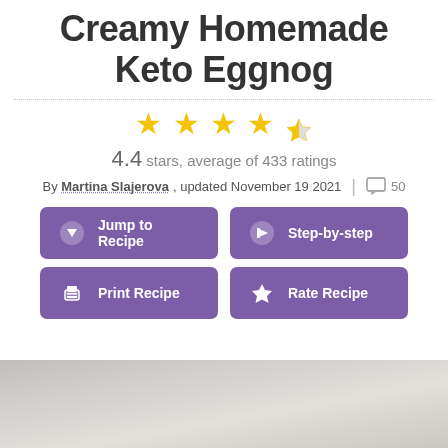Creamy Homemade Keto Eggnog
4.4 stars, average of 433 ratings
By Martina Slajerova, updated November 19 2021 | 50
Jump to Recipe | Step-by-step | Print Recipe | Rate Recipe
[Figure (photo): Photo of creamy eggnog drink, partially visible at bottom of page]